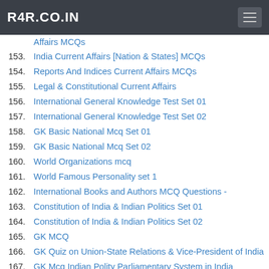R4R.CO.IN
Affairs MCQs (partial, cut off)
153. India Current Affairs [Nation & States] MCQs
154. Reports And Indices Current Affairs MCQs
155. Legal & Constitutional Current Affairs
156. International General Knowledge Test Set 01
157. International General Knowledge Test Set 02
158. GK Basic National Mcq Set 01
159. GK Basic National Mcq Set 02
160. World Organizations mcq
161. World Famous Personality set 1
162. International Books and Authors MCQ Questions -
163. Constitution of India & Indian Politics Set 01
164. Constitution of India & Indian Politics Set 02
165. GK MCQ
166. GK Quiz on Union-State Relations & Vice-President of India
167. GK Mcq Indian Polity Parliamentary System in India